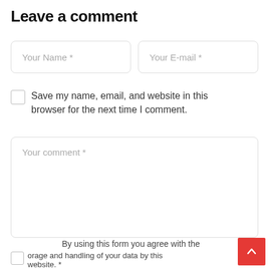Leave a comment
Your Name *
Your E-mail *
Save my name, email, and website in this browser for the next time I comment.
Your comment *
By using this form you agree with the storage and handling of your data by this website. *
...
...